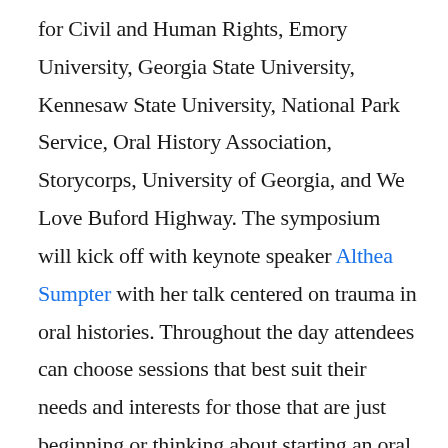for Civil and Human Rights, Emory University, Georgia State University, Kennesaw State University, National Park Service, Oral History Association, Storycorps, University of Georgia, and We Love Buford Highway. The symposium will kick off with keynote speaker Althea Sumpter with her talk centered on trauma in oral histories. Throughout the day attendees can choose sessions that best suit their needs and interests for those that are just beginning or thinking about starting an oral history project to those that are part of established programs. We will wrap up with a meet and greet where attendees can network with other attendees and organizations who support and